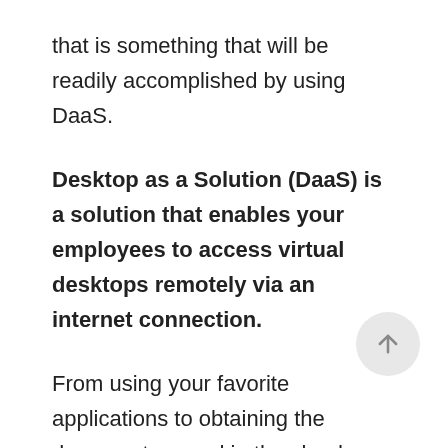that is something that will be readily accomplished by using DaaS.
Desktop as a Solution (DaaS) is a solution that enables your employees to access virtual desktops remotely via an internet connection.
From using your favorite applications to obtaining the documents saved in the cloud, then you can do all you want to.
It's exactly like getting your office systems, and the only difference is you simply do it over an internet connection. All you will need is approved access and